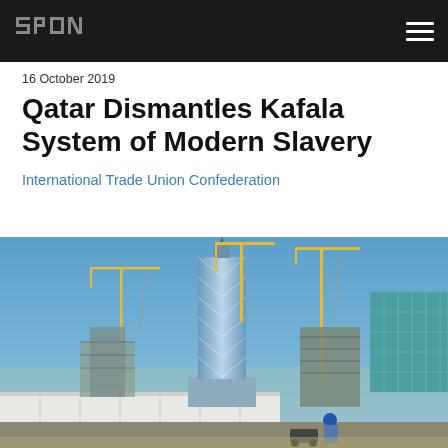SPON [logo] [hamburger menu]
16 October 2019
Qatar Dismantles Kafala System of Modern Slavery
International Trade Union Confederation
[Figure (photo): Construction site in Qatar showing a tall skyscraper under construction with cranes, blue sky, and a worker in the foreground wearing a blue hard hat]